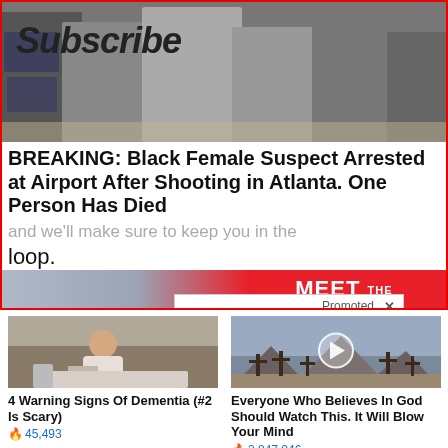[Figure (photo): Photo of people at an airport, overlaid with red-bordered subscribe newsletter box and 'Subscribe' heading]
BREAKING: Black Female Suspect Arrested at Airport After Shooting in Atlanta. One Person Has Died
and we'll make sure to keep you in the loop.
[Figure (screenshot): Meet The Press NBC newsletter signup bar with First Name input field]
Promoted X
[Figure (photo): 4 Warning Signs Of Dementia (#2 Is Scary) - image of elderly person sitting on bed]
4 Warning Signs Of Dementia (#2 Is Scary)
45,493
[Figure (photo): Everyone Who Believes In God Should Watch This. It Will Blow Your Mind - image of crosses in desert landscape with play button]
Everyone Who Believes In God Should Watch This. It Will Blow Your Mind
2,847,046